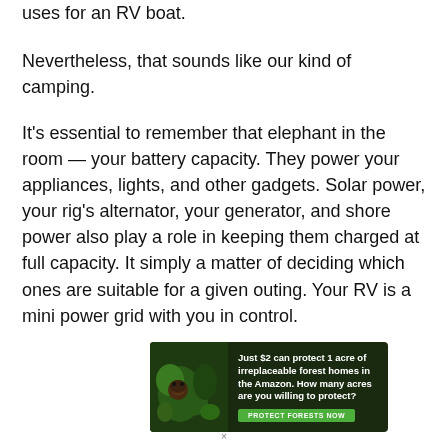uses for an RV boat.
Nevertheless, that sounds like our kind of camping.
It's essential to remember that elephant in the room — your battery capacity. They power your appliances, lights, and other gadgets. Solar power, your rig's alternator, your generator, and shore power also play a role in keeping them charged at full capacity. It simply a matter of deciding which ones are suitable for a given outing. Your RV is a mini power grid with you in control.
[Figure (other): Advertisement banner for Amazon forest protection: 'Just $2 can protect 1 acre of irreplaceable forest homes in the Amazon. How many acres are you willing to protect?' with a 'PROTECT FORESTS NOW' button and wildlife image on dark green background.]
×